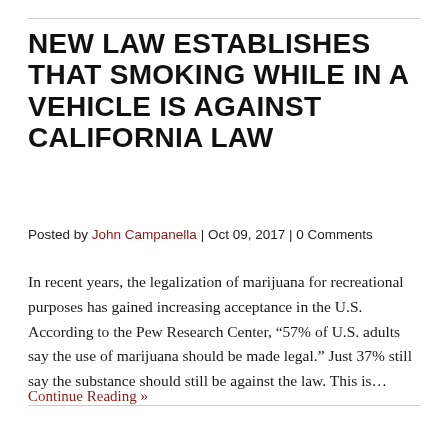NEW LAW ESTABLISHES THAT SMOKING WHILE IN A VEHICLE IS AGAINST CALIFORNIA LAW
Posted by John Campanella | Oct 09, 2017 | 0 Comments
In recent years, the legalization of marijuana for recreational purposes has gained increasing acceptance in the U.S. According to the Pew Research Center, “57% of U.S. adults say the use of marijuana should be made legal.” Just 37% still say the substance should still be against the law. This is…
Continue Reading »
26 HOURS IN SACRAMENTO